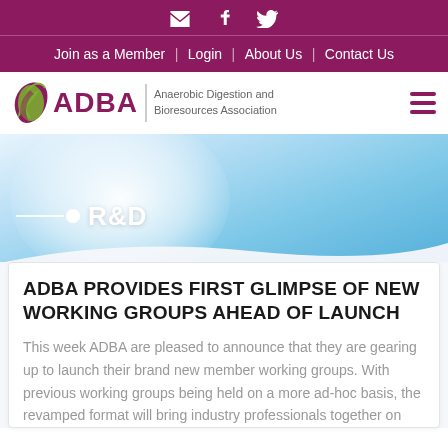Social icons: email, LinkedIn, Twitter
Join as a Member | Login | About Us | Contact Us
[Figure (logo): ADBA logo with leaf icon and text 'Anaerobic Digestion and Bioresources Association']
[Figure (illustration): Blue sky hero banner with R&D heading and decorative white line and dot]
ADBA PROVIDES FIRST GLIMPSE OF NEW WORKING GROUPS AHEAD OF LAUNCH
This week ADBA are pleased to announce that they are gearing up to launch their brand new member working groups. With previous working groups being held on a more ad-hoc basis, the revamped format will bring industry professionals together on